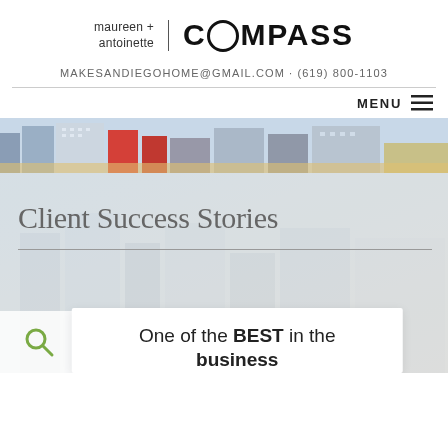[Figure (logo): maureen + antoinette | COMPASS real estate logo. Left side has 'maureen + antoinette' text, separated by vertical bar from COMPASS wordmark on right.]
MAKESANDIEGOHOME@GMAIL.COM · (619) 800-1103
MENU ☰
[Figure (photo): Cityscape banner photo showing San Diego downtown buildings with colorful facades including red and yellow/beige tones against a blue sky.]
Client Success Stories
[Figure (illustration): Search/magnifying glass icon in white box on lower left of hero image section.]
One of the BEST in the business